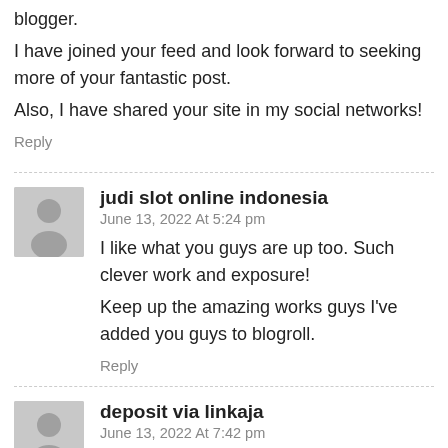blogger.
I have joined your feed and look forward to seeking more of your fantastic post.
Also, I have shared your site in my social networks!
Reply
judi slot online indonesia
June 13, 2022 At 5:24 pm
I like what you guys are up too. Such clever work and exposure!
Keep up the amazing works guys I've added you guys to blogroll.
Reply
deposit via linkaja
June 13, 2022 At 7:42 pm
Wonderful goods from you, man. I have